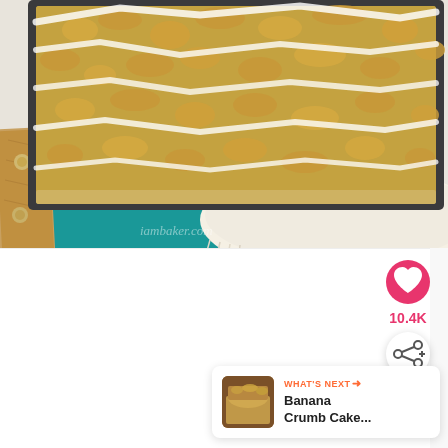[Figure (photo): Overhead view of a baking pan containing crumb-topped cake with white icing/glaze drizzled over it, set on a teal napkin with a white fringed cloth underneath, with a wooden-handled spatula/turner visible on the left side. A watermark reading 'iambaker.com' is visible.]
[Figure (screenshot): Lower portion of a food blog webpage showing a white/light gray background with a pink circular heart/save button showing '10.4K', a white circular share button with a share icon, and a 'What's Next' card in the bottom right showing a thumbnail of banana crumb cake and the text 'WHAT'S NEXT → Banana Crumb Cake...']